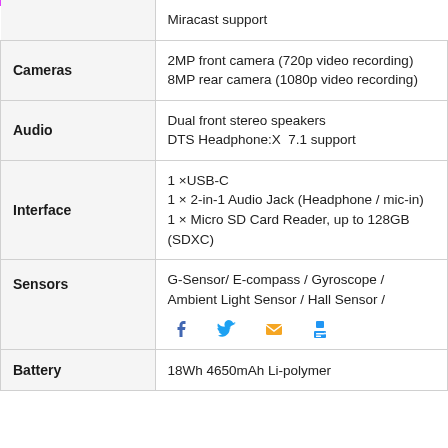| Feature | Details |
| --- | --- |
|  | Miracast support |
| Cameras | 2MP front camera (720p video recording)
8MP rear camera (1080p video recording) |
| Audio | Dual front stereo speakers
DTS Headphone:X  7.1 support |
| Interface | 1 ×USB-C
1 × 2-in-1 Audio Jack (Headphone / mic-in)
1 × Micro SD Card Reader, up to 128GB (SDXC) |
| Sensors | G-Sensor/ E-compass / Gyroscope / Ambient Light Sensor / Hall Sensor / |
| Battery | 18Wh 4650mAh Li-polymer |